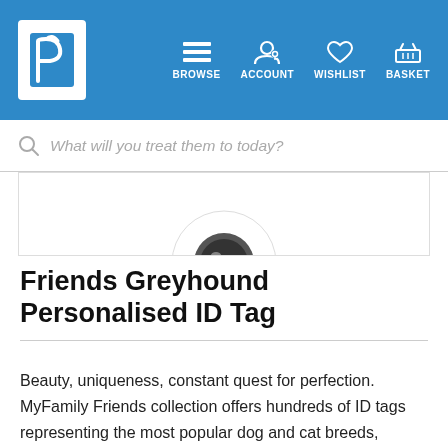BROWSE ACCOUNT WISHLIST BASKET
What will you treat them to today?
[Figure (photo): Partial view of a white round pet ID tag with a dark center ring, cropped at the top]
Friends Greyhound Personalised ID Tag
Beauty, uniqueness, constant quest for perfection. MyFamily Friends collection offers hundreds of ID tags representing the most popular dog and cat breeds, accurately reproduced in each detail.